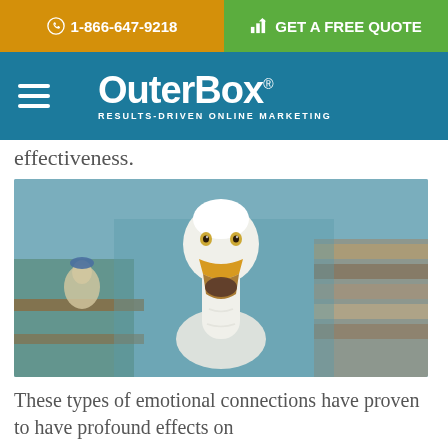1-866-647-9218 | GET A FREE QUOTE
[Figure (logo): OuterBox logo with tagline RESULTS-DRIVEN ONLINE MARKETING on teal navigation bar with hamburger menu]
effectiveness.
[Figure (photo): Close-up photo of a white duck/goose with an open beak, appearing to be talking or quacking, with a blurred indoor background]
These types of emotional connections have proven to have profound effects on